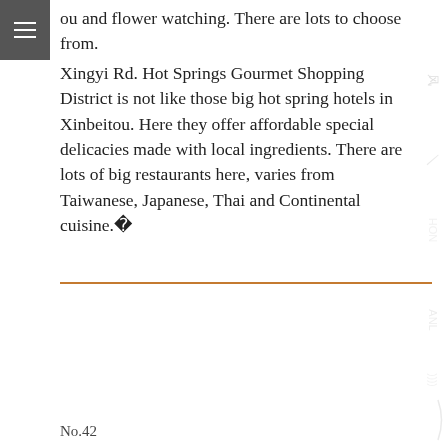≡
ou and flower watching. There are lots to choose from.
Xingyi Rd. Hot Springs Gourmet Shopping District is not like those big hot spring hotels in Xinbeitou. Here they offer affordable special delicacies made with local ingredients. There are lots of big restaurants here, varies from Taiwanese, Japanese, Thai and Continental cuisine. 
No.42